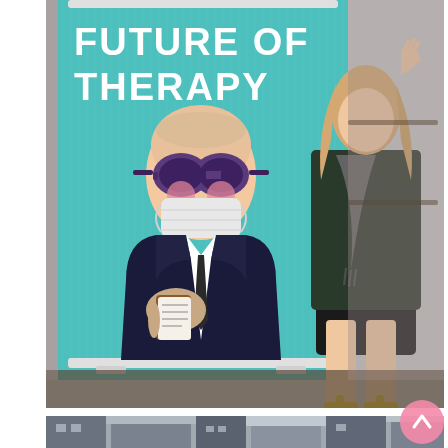[Figure (photo): A woman in a black blazer, dark scarf, black mini skirt, and yellow heeled sandals stands next to a tall pull-up banner display. The banner has a teal/turquoise background with white bold text reading 'FUTURE OF THERAPY' at the top, and features an illustrated cartoon character resembling Sigmund Freud wearing large round VR goggles/glasses and a surgical mask over a suit and tie. The setting appears to be an indoor event space or café.]
[Figure (photo): Partial view of a street scene or building exterior, showing architectural elements and what appears to be an urban setting, visible at the bottom of the page (cropped).]